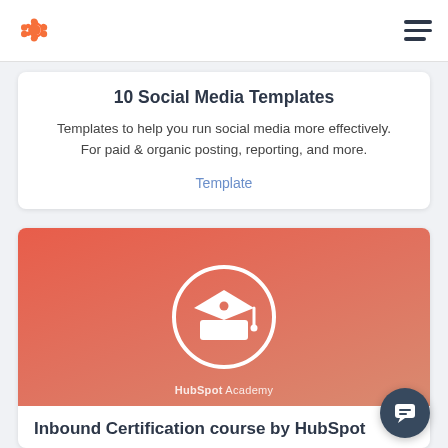HubSpot logo and navigation menu
10 Social Media Templates
Templates to help you run social media more effectively. For paid & organic posting, reporting, and more.
Template
[Figure (illustration): Red/coral gradient background with white graduation cap icon inside a white circle, HubSpot Academy label at bottom]
Inbound Certification course by HubSpot